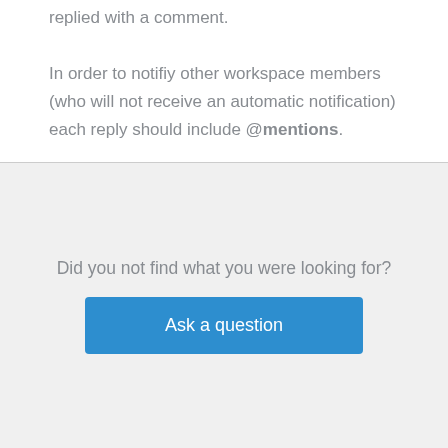replied with a comment. In order to notifiy other workspace members (who will not receive an automatic notification) each reply should include @mentions.
Did you not find what you were looking for?
Ask a question